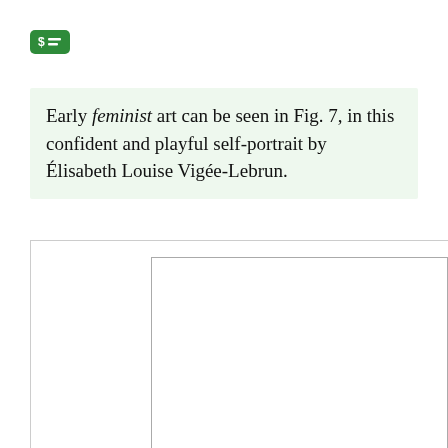[Figure (logo): Green badge icon with dollar sign and lines]
Early feminist art can be seen in Fig. 7, in this confident and playful self-portrait by Élisabeth Louise Vigée-Lebrun.
[Figure (photo): Partial view of a framed artwork or image, showing the frame border only — image content cut off at bottom and right edges]